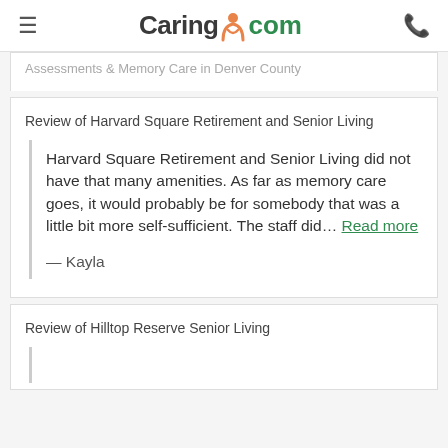≡  Caring.com  📞
Assessments & Memory Care in Denver County
Review of Harvard Square Retirement and Senior Living
Harvard Square Retirement and Senior Living did not have that many amenities. As far as memory care goes, it would probably be for somebody that was a little bit more self-sufficient. The staff did… Read more
— Kayla
Review of Hilltop Reserve Senior Living